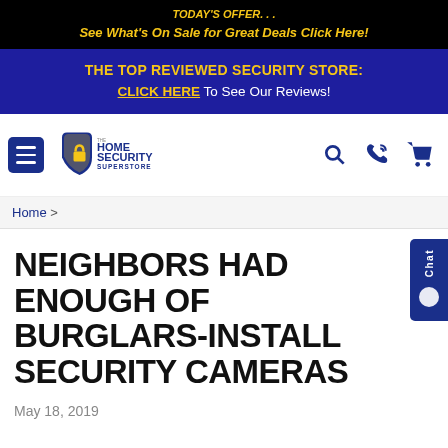TODAY'S OFFER...
See What's On Sale for Great Deals Click Here!
THE TOP REVIEWED SECURITY STORE:
CLICK HERE To See Our Reviews!
[Figure (logo): The Home Security Superstore logo with shield icon]
Home >
NEIGHBORS HAD ENOUGH OF BURGLARS-INSTALL SECURITY CAMERAS
May 18, 2019